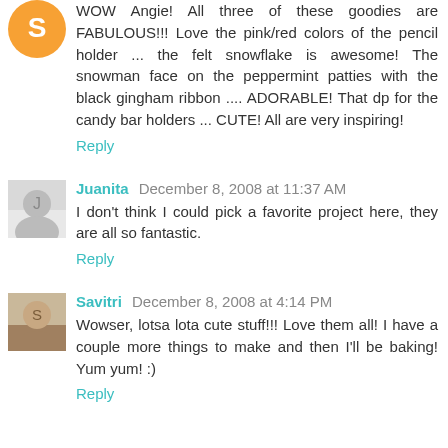WOW Angie! All three of these goodies are FABULOUS!!! Love the pink/red colors of the pencil holder ... the felt snowflake is awesome! The snowman face on the peppermint patties with the black gingham ribbon .... ADORABLE! That dp for the candy bar holders ... CUTE! All are very inspiring!
Reply
Juanita December 8, 2008 at 11:37 AM
I don't think I could pick a favorite project here, they are all so fantastic.
Reply
Savitri December 8, 2008 at 4:14 PM
Wowser, lotsa lota cute stuff!!! Love them all! I have a couple more things to make and then I'll be baking! Yum yum! :)
Reply